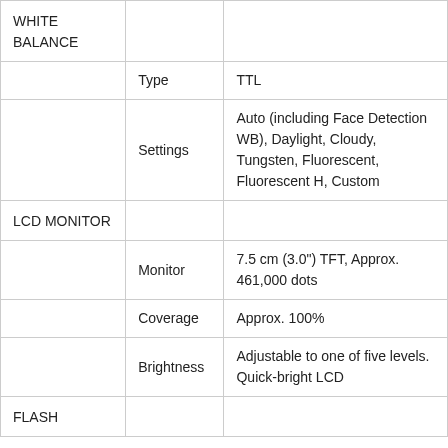| Category | Spec | Value |
| --- | --- | --- |
| WHITE BALANCE |  |  |
|  | Type | TTL |
|  | Settings | Auto (including Face Detection WB), Daylight, Cloudy, Tungsten, Fluorescent, Fluorescent H, Custom |
| LCD MONITOR |  |  |
|  | Monitor | 7.5 cm (3.0") TFT, Approx. 461,000 dots |
|  | Coverage | Approx. 100% |
|  | Brightness | Adjustable to one of five levels. Quick-bright LCD |
| FLASH |  |  |